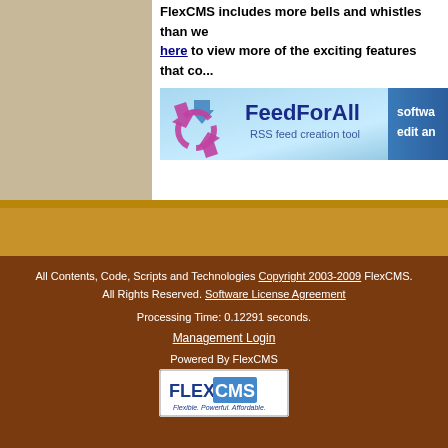FlexCMS includes more bells and whistles than we can list here to view more of the exciting features that co...
[Figure (logo): FeedForAll RSS feed creation tool banner with blue gradient background, stylized arrow logo, and text 'softwa edit an']
All Contents, Code, Scripts and Technologies Copyright 2003-2009 FlexCMS. All Rights Reserved. Software License Agreement

Processing Time: 0.12291 seconds.

Management Login

Powered By FlexCMS